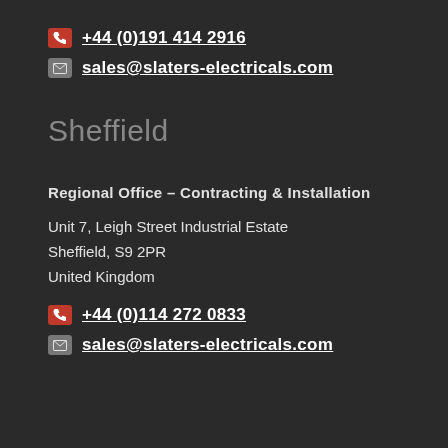+44 (0)191 414 2916
sales@slaters-electricals.com
Sheffield
Regional Office – Contracting & Installation
Unit 7, Leigh Street Industrial Estate
Sheffield, S9 2PR
United Kingdom
+44 (0)114 272 0833
sales@slaters-electricals.com